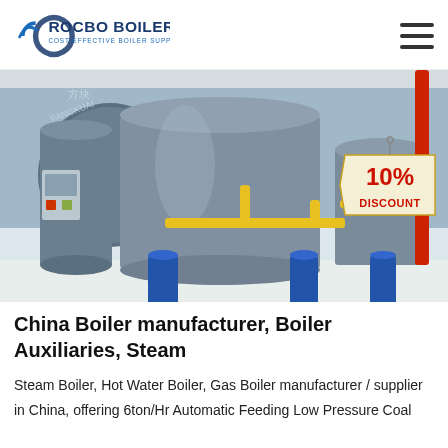ROCBO BOILER — COST-EFFECTIVE BOILER SUPPLIER
[Figure (photo): Industrial boiler room showing multiple large cylindrical boilers (blue, grey) with yellow gas piping and a red discount badge reading 10% DISCOUNT]
China Boiler manufacturer, Boiler Auxiliaries, Steam
Steam Boiler, Hot Water Boiler, Gas Boiler manufacturer / supplier in China, offering 6ton/Hr Automatic Feeding Low Pressure Coal